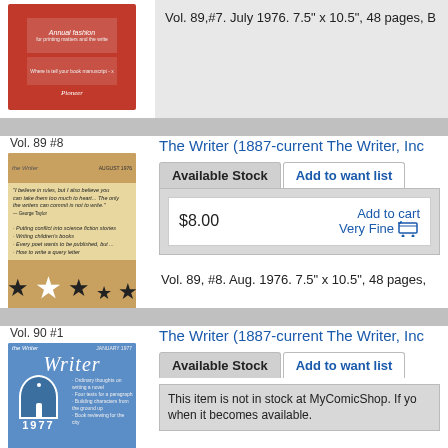Vol. 89,#7. July 1976. 7.5" x 10.5", 48 pages, B
Vol. 89 #8
[Figure (photo): Cover of The Writer magazine Vol. 89 #8, tan/brown cover with stars design]
The Writer (1887-current The Writer, Inc
Available Stock
Add to want list
$8.00
Add to cart
Very Fine
Vol. 89, #8. Aug. 1976. 7.5" x 10.5", 48 pages,
Vol. 90 #1
[Figure (photo): Cover of The Writer magazine Vol. 90 #1, blue cover with castle/building illustration]
The Writer (1887-current The Writer, Inc
Available Stock
Add to want list
This item is not in stock at MyComicShop. If yo when it becomes available.